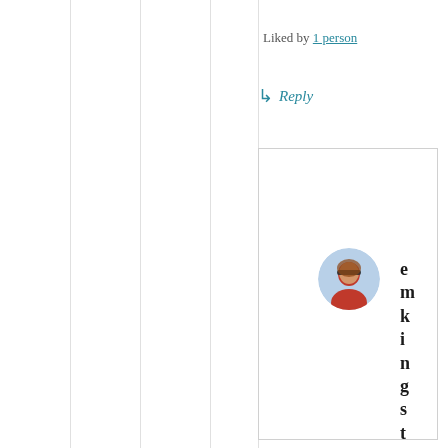Liked by 1 person
↳ Reply
[Figure (photo): Circular avatar photo of a woman with glasses and red top]
emkingston